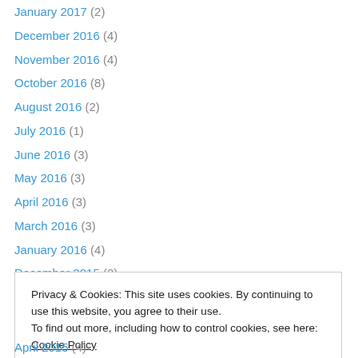January 2017 (2)
December 2016 (4)
November 2016 (4)
October 2016 (8)
August 2016 (2)
July 2016 (1)
June 2016 (3)
May 2016 (3)
April 2016 (3)
March 2016 (3)
January 2016 (4)
December 2015 (2)
November 2015 (6)
Privacy & Cookies: This site uses cookies. By continuing to use this website, you agree to their use. To find out more, including how to control cookies, see here: Cookie Policy
April 2015 (4)